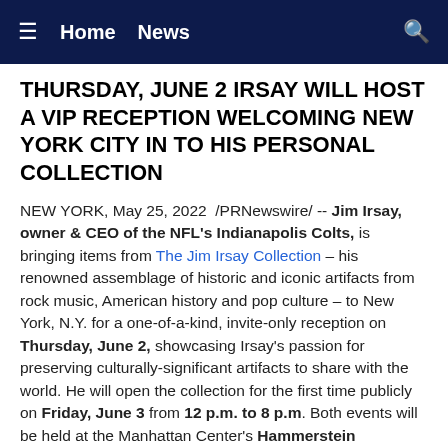≡   Home   News   🔍
THURSDAY, JUNE 2 IRSAY WILL HOST A VIP RECEPTION WELCOMING NEW YORK CITY IN TO HIS PERSONAL COLLECTION
NEW YORK, May 25, 2022  /PRNewswire/ -- Jim Irsay, owner & CEO of the NFL's Indianapolis Colts, is bringing items from The Jim Irsay Collection – his renowned assemblage of historic and iconic artifacts from rock music, American history and pop culture – to New York, N.Y. for a one-of-a-kind, invite-only reception on Thursday, June 2, showcasing Irsay's passion for preserving culturally-significant artifacts to share with the world. He will open the collection for the first time publicly on Friday, June 3 from 12 p.m. to 8 p.m. Both events will be held at the Manhattan Center's Hammerstein Ballroom.